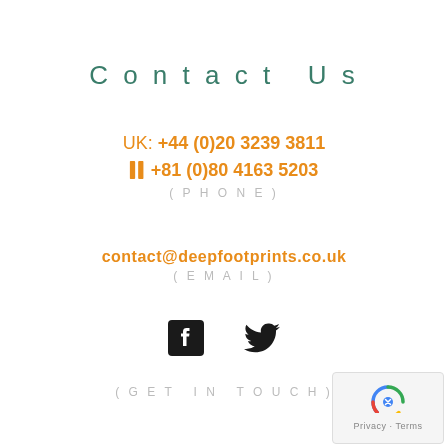Contact Us
UK: +44 (0)20 3239 3811
[JP]: +81 (0)80 4163 5203
(PHONE)
contact@deepfootprints.co.uk
(EMAIL)
[Figure (infographic): Facebook and Twitter social media icons]
(GET IN TOUCH)
[Figure (logo): reCAPTCHA widget with Privacy and Terms links]